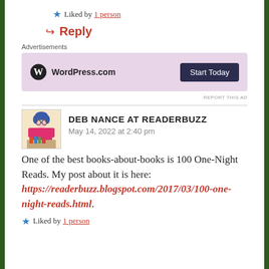★ Liked by 1 person
↪ Reply
Advertisements
[Figure (other): WordPress.com advertisement banner with pink/lavender background, WordPress logo, text 'WordPress.com', and a dark navy 'Start Today' button on the right.]
REPORT THIS AD
DEB NANCE AT READERBUZZ
May 14, 2022 at 2:40 pm
One of the best books-about-books is 100 One-Night Reads. My post about it is here: https://readerbuzz.blogspot.com/2017/03/100-one-night-reads.html.
★ Liked by 1 person